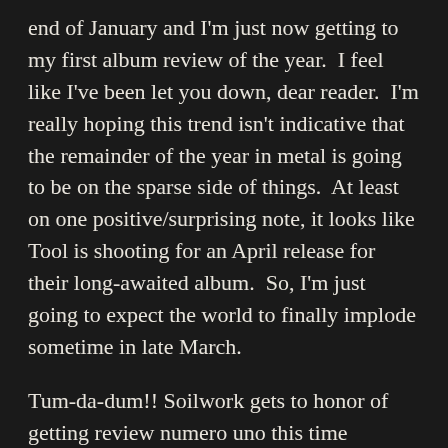end of January and I'm just now getting to my first album review of the year.  I feel like I've been let you down, dear reader.  I'm really hoping this trend isn't indicative that the remainder of the year in metal is going to be on the sparse side of things.  At least on one positive/surprising note, it looks like Tool is shooting for an April release for their long-awaited album.  So, I'm just going to expect the world to finally implode sometime in late March.
Tum-da-dum!! Soilwork gets to honor of getting review numero uno this time around.  These feisty Swedes have become an institution in the Gothenburg melodic death metal sound over the 20+ years they have been active.  Like most bands who have managed to eek out a career as long as they have, there have been many changes in personnel and changes in sound